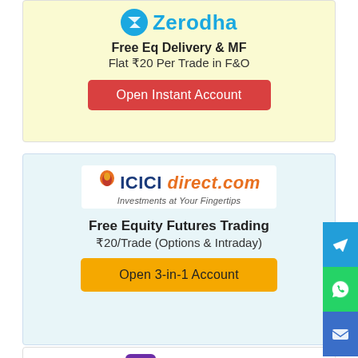[Figure (infographic): Zerodha broker advertisement card with logo, tagline 'Free Eq Delivery & MF', 'Flat ₹20 Per Trade in F&O', and a red 'Open Instant Account' button on a yellow background.]
[Figure (infographic): ICICI direct.com broker advertisement card with logo, tagline 'Free Equity Futures Trading', '₹20/Trade (Options & Intraday)', and a yellow 'Open 3-in-1 Account' button on a light blue background.]
[Figure (infographic): Upstox broker advertisement card with purple logo icon and blue 'Upstox' name, and text 'Flat ₹20 Per Trade' on white background.]